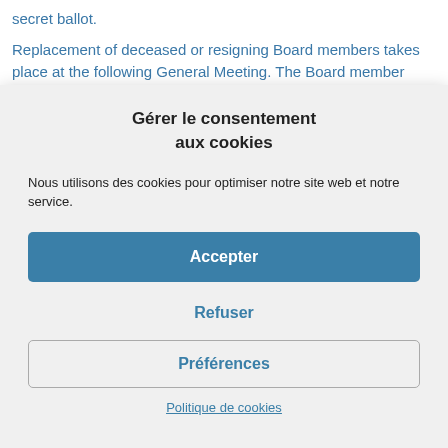secret ballot.
Replacement of deceased or resigning Board members takes place at the following General Meeting. The Board member thus elected takes the mandate of the member
Gérer le consentement aux cookies
Nous utilisons des cookies pour optimiser notre site web et notre service.
Accepter
Refuser
Préférences
Politique de cookies